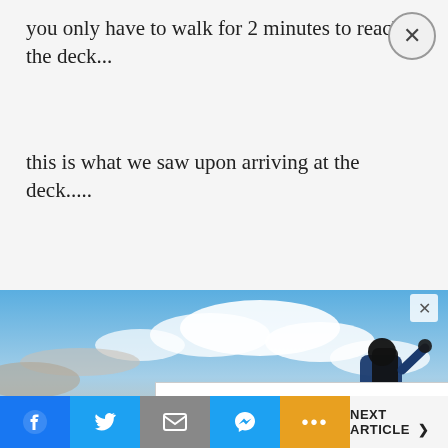you only have to walk for 2 minutes to reach the deck...
this is what we saw upon arriving at the deck.....
[Figure (photo): Person with a backpack photographing a blue sky with scattered clouds, viewed from an elevated deck or overlook.]
[Figure (screenshot): Advertisement overlay showing LikeCo logo with checkmark, 'In-store pickup' text, and a blue diamond-shaped directions icon.]
NEXT ARTICLE >